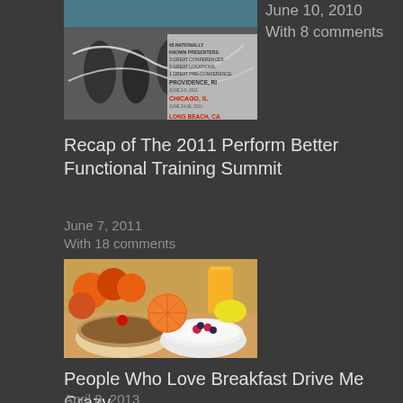June 10, 2010
With 8 comments
[Figure (photo): Fitness/jump rope event promotional image with text: 45 NATIONALLY KNOWN PRESENTERS, 3 GREAT CONFERENCES, 3 GREAT LOCATIONS, 1 GREAT PRE-CONFERENCE. PROVIDENCE, RI JUNE 3-5, 2011. CHICAGO, IL JUNE 24-26, 2011. LONG BEACH, CA]
Recap of The 2011 Perform Better Functional Training Summit
June 7, 2011
With 18 comments
[Figure (photo): Photo of a healthy breakfast spread: bowls of granola, yogurt with berries, oranges, fruits, and a glass of orange juice]
People Who Love Breakfast Drive Me Crazy
April 8, 2013